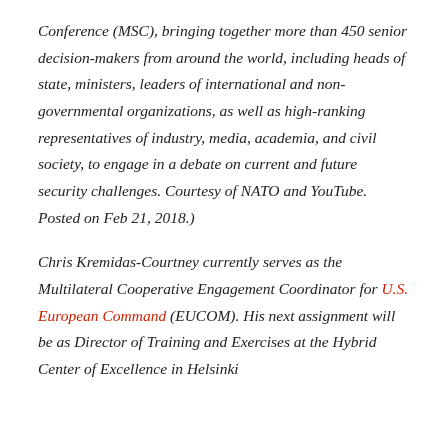Conference (MSC), bringing together more than 450 senior decision-makers from around the world, including heads of state, ministers, leaders of international and non-governmental organizations, as well as high-ranking representatives of industry, media, academia, and civil society, to engage in a debate on current and future security challenges. Courtesy of NATO and YouTube. Posted on Feb 21, 2018.)
Chris Kremidas-Courtney currently serves as the Multilateral Cooperative Engagement Coordinator for U.S. European Command (EUCOM). His next assignment will be as Director of Training and Exercises at the Hybrid Center of Excellence in Helsinki